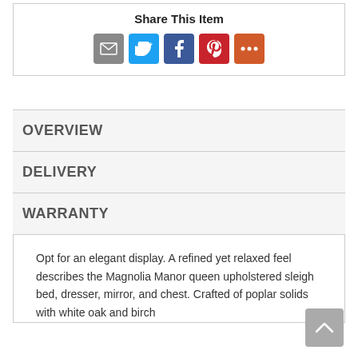Share This Item
[Figure (infographic): Social sharing icons: email (gray), Twitter (blue), Facebook (dark blue), Pinterest (red), More (orange-red)]
OVERVIEW
DELIVERY
WARRANTY
Opt for an elegant display. A refined yet relaxed feel describes the Magnolia Manor queen upholstered sleigh bed, dresser, mirror, and chest. Crafted of poplar solids with white oak and birch veneers, this kit features a cream white finish...